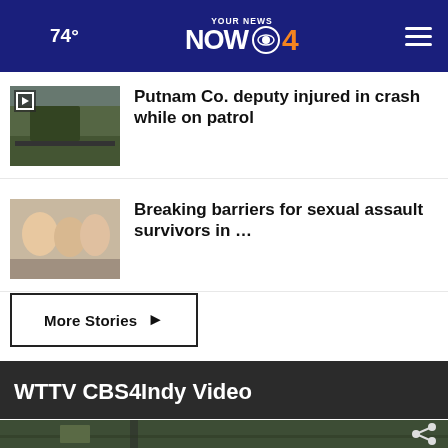74° YOUR NEWS NOW CBS4
Putnam Co. deputy injured in crash while on patrol
Breaking barriers for sexual assault survivors in …
More Stories ▶
WTTV CBS4Indy Video
[Figure (screenshot): Video thumbnail showing outdoor street scene with trees and buildings]